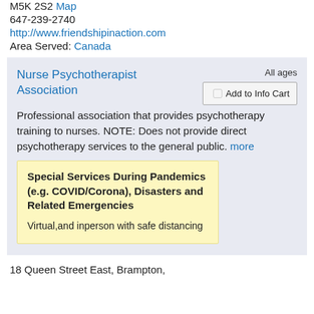M5K 2S2 Map
647-239-2740
http://www.friendshipinaction.com
Area Served: Canada
Nurse Psychotherapist Association
All ages
Add to Info Cart
Professional association that provides psychotherapy training to nurses. NOTE: Does not provide direct psychotherapy services to the general public. more
Special Services During Pandemics (e.g. COVID/Corona), Disasters and Related Emergencies
Virtual,and inperson with safe distancing
18 Queen Street East, Brampton,